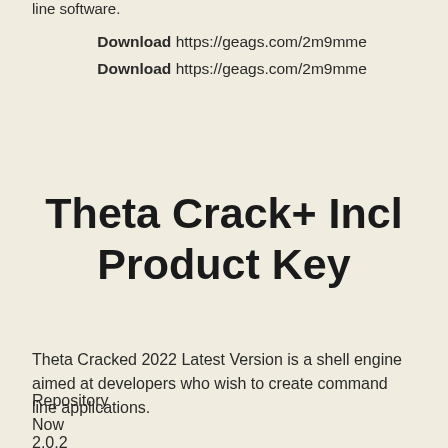line software.
Download https://geags.com/2m9mme
Download https://geags.com/2m9mme
Theta Crack+ Incl Product Key
Theta Cracked 2022 Latest Version is a shell engine aimed at developers who wish to create command line applications.
Repository
Now
2.0.2